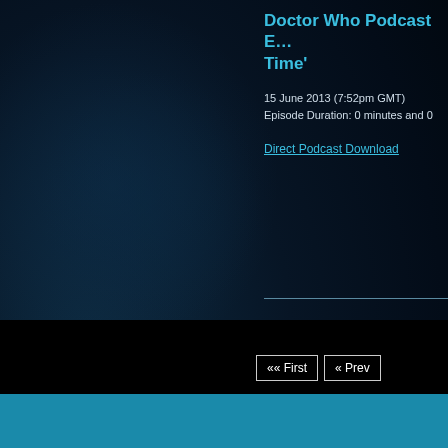Doctor Who Podcast E… Time'
15 June 2013 (7:52pm GMT)
Episode Duration: 0 minutes and 0
Direct Podcast Download
«« First  « Prev